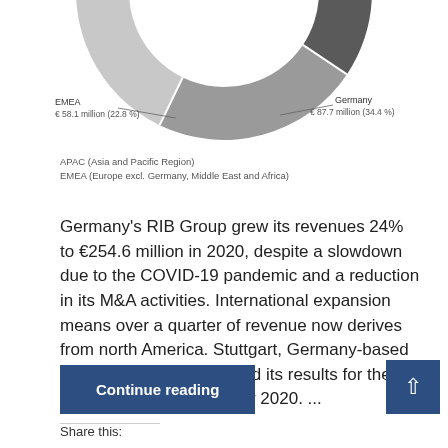[Figure (donut-chart): Donut chart showing RIB Group revenue by region. Germany: €87.7 million (34.4%), EMEA: €58.1 million (22.8%), and other segments.]
APAC (Asia and Pacific Region)
EMEA (Europe excl. Germany, Middle East and Africa)
Germany's RIB Group grew its revenues 24% to €254.6 million in 2020, despite a slowdown due to the COVID-19 pandemic and a reduction in its M&A activities. International expansion means over a quarter of revenue now derives from north America. Stuttgart, Germany-based RIB Group has announced its results for the year ending 31 December 2020. ...
Continue reading
Share this: